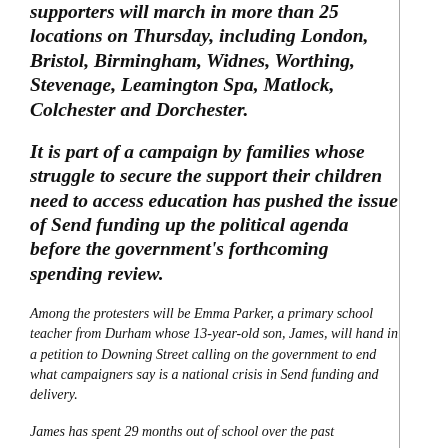supporters will march in more than 25 locations on Thursday, including London, Bristol, Birmingham, Widnes, Worthing, Stevenage, Leamington Spa, Matlock, Colchester and Dorchester.
It is part of a campaign by families whose struggle to secure the support their children need to access education has pushed the issue of Send funding up the political agenda before the government's forthcoming spending review.
Among the protesters will be Emma Parker, a primary school teacher from Durham whose 13-year-old son, James, will hand in a petition to Downing Street calling on the government to end what campaigners say is a national crisis in Send funding and delivery.
James has spent 29 months out of school over the past